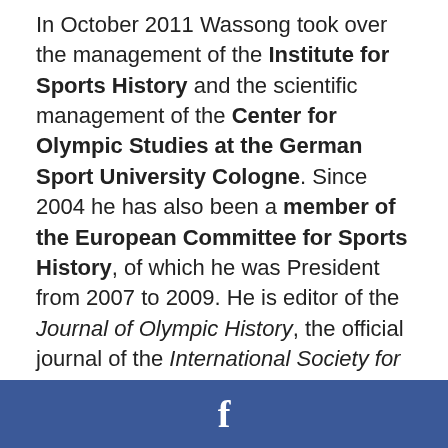In October 2011 Wassong took over the management of the Institute for Sports History and the scientific management of the Center for Olympic Studies at the German Sport University Cologne. Since 2004 he has also been a member of the European Committee for Sports History, of which he was President from 2007 to 2009. He is editor of the Journal of Olympic History, the official journal of the International Society for Olympic Historians, and was a member of the IOC Postgraduate Grant Selection Committee from 2005 to 2010 . Since 2010 he has been head of the international Master
f